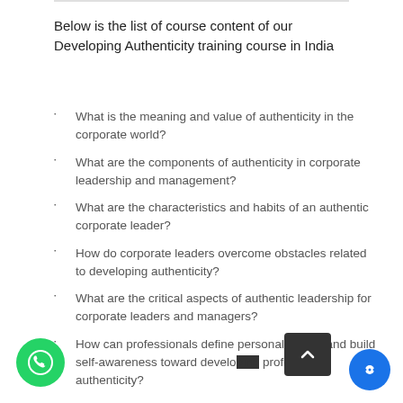Below is the list of course content of our Developing Authenticity training course in India
What is the meaning and value of authenticity in the corporate world?
What are the components of authenticity in corporate leadership and management?
What are the characteristics and habits of an authentic corporate leader?
How do corporate leaders overcome obstacles related to developing authenticity?
What are the critical aspects of authentic leadership for corporate leaders and managers?
How can professionals define personal values and build self-awareness toward developing professional authenticity?
What is the importance of authenticity in